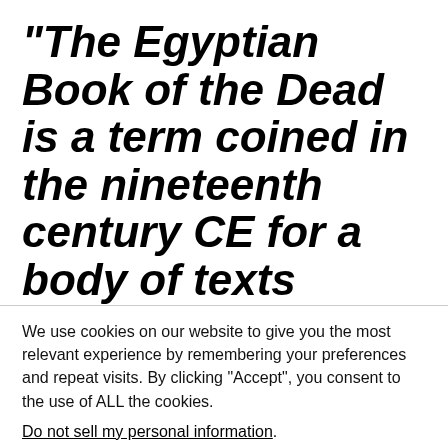“The Egyptian Book of the Dead is a term coined in the nineteenth century CE for a body of texts known to the Ancient Egyptians as the Spells for Going Forth by Day. After the Book of
We use cookies on our website to give you the most relevant experience by remembering your preferences and repeat visits. By clicking “Accept”, you consent to the use of ALL the cookies.
Do not sell my personal information.
Cookie Settings | Accept